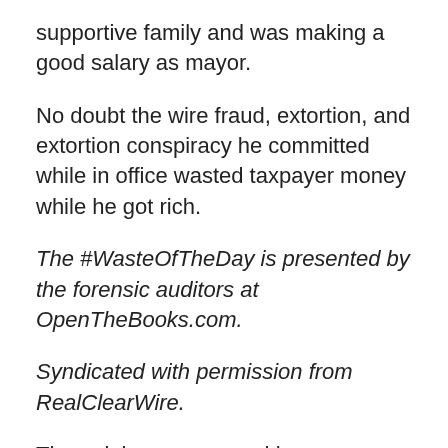supportive family and was making a good salary as mayor.
No doubt the wire fraud, extortion, and extortion conspiracy he committed while in office wasted taxpayer money while he got rich.
The #WasteOfTheDay is presented by the forensic auditors at OpenTheBooks.com.
Syndicated with permission from RealClearWire.
The opinions expressed by contributors and/or content partners are their own and do not necessarily reflect the views of The Political Insider.